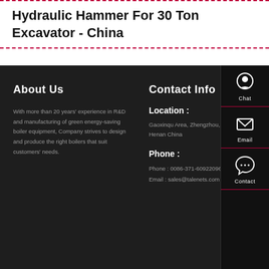Hydraulic Hammer For 30 Ton Excavator - China
About Us
With more than 20 years' experience in R&D and manufacturing of green energy-saving boiler equipment, Company strives to design and produce the right boilers that suit customers' needs.
Contact Info
Location :
Gaoxinqu Area, Zhengzhou, Henan China
Phone :
Phone : 0086-371-60922096
Email : sales@talenets.com